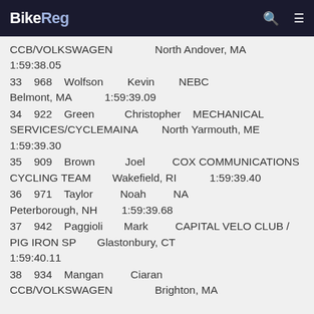BikeReg
CCB/VOLKSWAGEN   North Andover, MA   1:59:38.05
33   968   Wolfson   Kevin   NEBC   Belmont, MA   1:59:39.09
34   922   Green   Christopher   MECHANICAL SERVICES/CYCLEMAINA   North Yarmouth, ME   1:59:39.30
35   909   Brown   Joel   COX COMMUNICATIONS CYCLING TEAM   Wakefield, RI   1:59:39.40
36   971   Taylor   Noah   NA   Peterborough, NH   1:59:39.68
37   942   Paggioli   Mark   CAPITAL VELO CLUB / PIG IRON SP   Glastonbury, CT   1:59:40.11
38   934   Mangan   Ciaran   CCB/VOLKSWAGEN   Brighton, MA